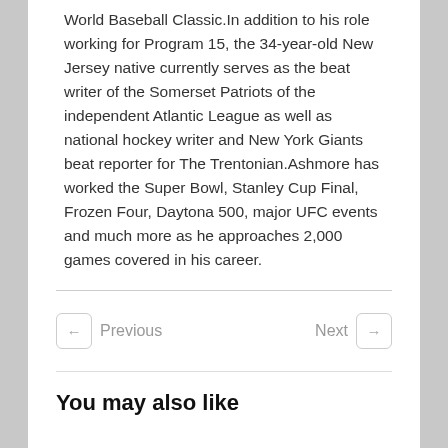World Baseball Classic.In addition to his role working for Program 15, the 34-year-old New Jersey native currently serves as the beat writer of the Somerset Patriots of the independent Atlantic League as well as national hockey writer and New York Giants beat reporter for The Trentonian.Ashmore has worked the Super Bowl, Stanley Cup Final, Frozen Four, Daytona 500, major UFC events and much more as he approaches 2,000 games covered in his career.
Previous
Next
You may also like